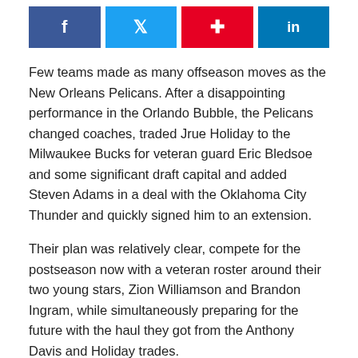[Figure (infographic): Social media sharing buttons: Facebook (dark blue), Twitter (light blue), Pinterest (red), LinkedIn (blue)]
Few teams made as many offseason moves as the New Orleans Pelicans. After a disappointing performance in the Orlando Bubble, the Pelicans changed coaches, traded Jrue Holiday to the Milwaukee Bucks for veteran guard Eric Bledsoe and some significant draft capital and added Steven Adams in a deal with the Oklahoma City Thunder and quickly signed him to an extension.
Their plan was relatively clear, compete for the postseason now with a veteran roster around their two young stars, Zion Williamson and Brandon Ingram, while simultaneously preparing for the future with the haul they got from the Anthony Davis and Holiday trades.